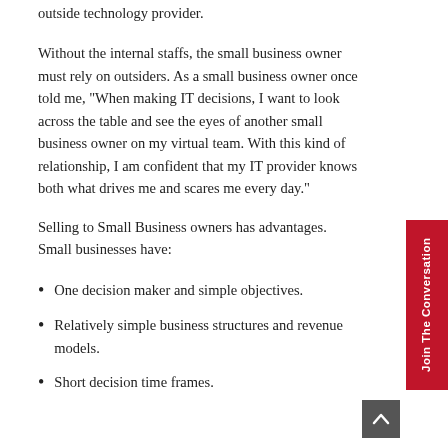outside technology provider.
Without the internal staffs, the small business owner must rely on outsiders. As a small business owner once told me, “When making IT decisions, I want to look across the table and see the eyes of another small business owner on my virtual team. With this kind of relationship, I am confident that my IT provider knows both what drives me and scares me every day.”
Selling to Small Business owners has advantages. Small businesses have:
One decision maker and simple objectives.
Relatively simple business structures and revenue models.
Short decision time frames.